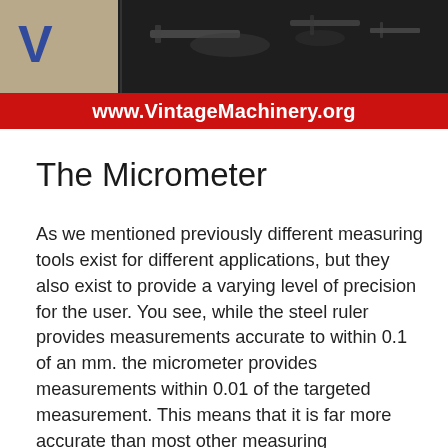[Figure (photo): Black and white photograph of vintage measuring tools/machinery parts on a dark surface, with a tan/beige section in the top-left corner showing a blue logo mark.]
www.VintageMachinery.org
The Micrometer
As we mentioned previously different measuring tools exist for different applications, but they also exist to provide a varying level of precision for the user. You see, while the steel ruler provides measurements accurate to within 0.1 of an mm. the micrometer provides measurements within 0.01 of the targeted measurement. This means that it is far more accurate than most other measuring instruments.